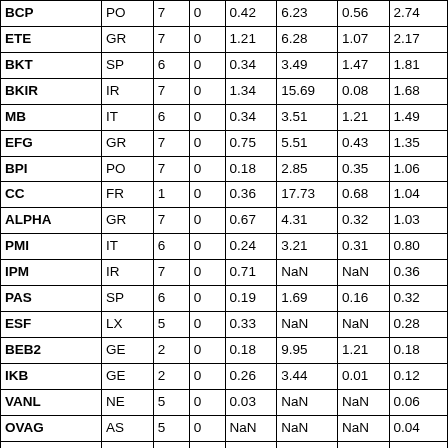| BCP | PO | 7 | 0 | 0.42 | 6.23 | 0.56 | 2.74 |
| ETE | GR | 7 | 0 | 1.21 | 6.28 | 1.07 | 2.17 |
| BKT | SP | 6 | 0 | 0.34 | 3.49 | 1.47 | 1.81 |
| BKIR | IR | 7 | 0 | 1.34 | 15.69 | 0.08 | 1.68 |
| MB | IT | 6 | 0 | 0.34 | 3.51 | 1.21 | 1.49 |
| EFG | GR | 7 | 0 | 0.75 | 5.51 | 0.43 | 1.35 |
| BPI | PO | 7 | 0 | 0.18 | 2.85 | 0.35 | 1.06 |
| CC | FR | 1 | 0 | 0.36 | 17.73 | 0.68 | 1.04 |
| ALPHA | GR | 7 | 0 | 0.67 | 4.31 | 0.32 | 1.03 |
| PMI | IT | 6 | 0 | 0.24 | 3.21 | 0.31 | 0.80 |
| IPM | IR | 7 | 0 | 0.71 | NaN | NaN | 0.36 |
| PAS | SP | 6 | 0 | 0.19 | 1.69 | 0.16 | 0.32 |
| ESF | LX | 5 | 0 | 0.33 | NaN | NaN | 0.28 |
| BEB2 | GE | 2 | 0 | 0.18 | 9.95 | 1.21 | 0.18 |
| IKB | GE | 2 | 0 | 0.26 | 3.44 | 0.01 | 0.12 |
| VANL | NE | 5 | 0 | 0.03 | NaN | NaN | 0.06 |
| OVAG | AS | 5 | 0 | NaN | NaN | NaN | 0.04 |
| CAM | SP | 6 | 0 | 0.19 | 5.50 | 0.01 | 0.00 |
| DNB | NO | 8 | 0 | 1.65 | NaN | 1.64 | NaN |